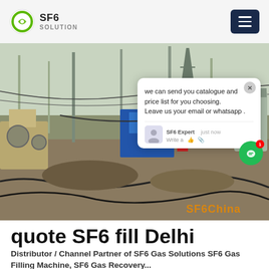[Figure (logo): SF6 Solution logo with circular green icon and text SF6 SOLUTION]
[Figure (photo): Outdoor electrical substation with transformers, cables, construction equipment, and a blue kiosk in the background]
[Figure (screenshot): Chat popup overlay showing message: we can send you catalogue and price list for you choosing. Leave us your email or whatsapp. SF6 Expert, just now, Write a message icons]
quote SF6 fill Delhi
Distributor / Channel Partner of SF6 Gas Solutions SF6 Gas Filling Machine, SF6 Gas Recovery...